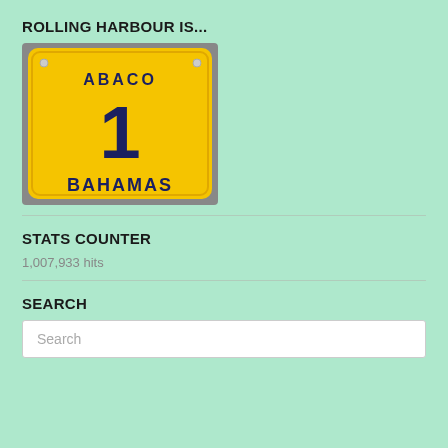ROLLING HARBOUR IS...
[Figure (photo): A yellow Bahamas license plate with 'ABACO' at the top, a large '1' in the center, and 'BAHAMAS' at the bottom, on a gray background.]
STATS COUNTER
1,007,933 hits
SEARCH
Search